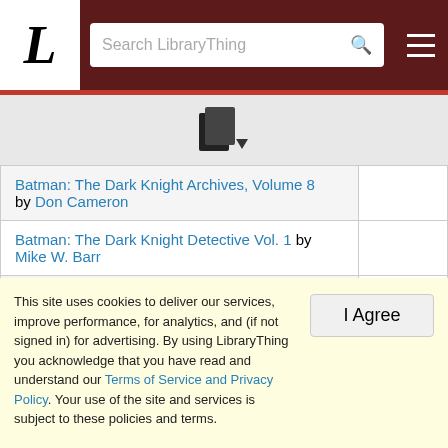L | Search LibraryThing
[Figure (other): LibraryThing book/document icon with dropdown arrow]
| Book |  |
| --- | --- |
| Batman: The Dark Knight Archives, Volume 8 by Don Cameron |  |
| Batman: The Dark Knight Detective Vol. 1 by Mike W. Barr |  |
| Batman: The Dark Knight Detective Vol. 2 by Alan Grant |  |
| Batman: The Dark Knight Detective Vol. 4 by |  |
This site uses cookies to deliver our services, improve performance, for analytics, and (if not signed in) for advertising. By using LibraryThing you acknowledge that you have read and understand our Terms of Service and Privacy Policy. Your use of the site and services is subject to these policies and terms.